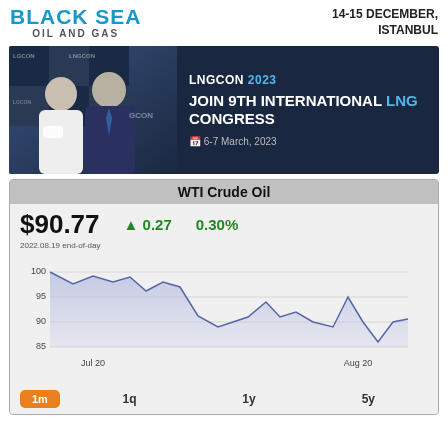BLACK SEA OIL AND GAS   14-15 DECEMBER, ISTANBUL
[Figure (photo): LNGCON 2023 advertisement banner. Left side shows two men in suits at a conference with LNGCON branding. Right side on dark blue background reads: LNGCON 2023, JOIN 9TH INTERNATIONAL LNG CONGRESS, 6-7 March, 2023]
[Figure (line-chart): WTI Crude Oil price chart from Jul 20 to Aug 20, ranging from about 85 to 100, showing a decline from ~100 to ~90.77. Price: $90.77, Change: +0.27 (0.30%). Date: 2022.08.19 end-of-day. Time frames: 1m (active), 1q, 1y, 5y]